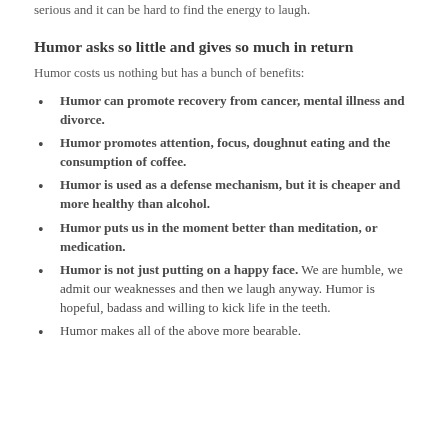serious and it can be hard to find the energy to laugh.
Humor asks so little and gives so much in return
Humor costs us nothing but has a bunch of benefits:
Humor can promote recovery from cancer, mental illness and divorce.
Humor promotes attention, focus, doughnut eating and the consumption of coffee.
Humor is used as a defense mechanism, but it is cheaper and more healthy than alcohol.
Humor puts us in the moment better than meditation, or medication.
Humor is not just putting on a happy face. We are humble, we admit our weaknesses and then we laugh anyway. Humor is hopeful, badass and willing to kick life in the teeth.
Humor makes all of the above more bearable.